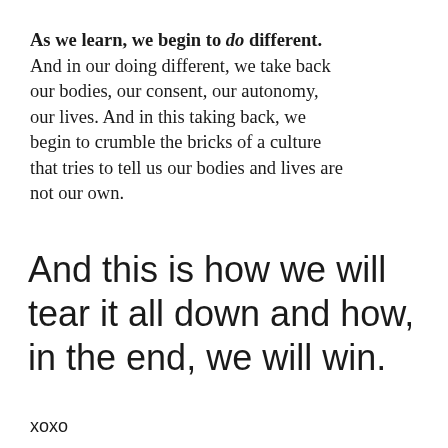As we learn, we begin to do different. And in our doing different, we take back our bodies, our consent, our autonomy, our lives. And in this taking back, we begin to crumble the bricks of a culture that tries to tell us our bodies and lives are not our own.
And this is how we will tear it all down and how, in the end, we will win.
xoxo